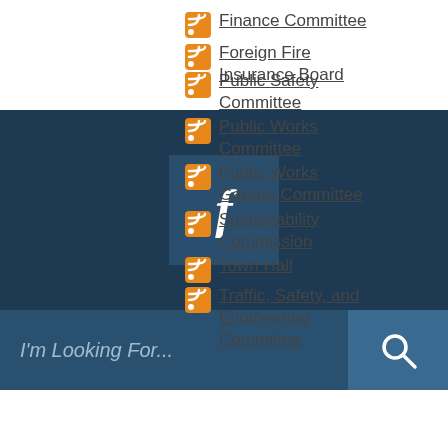Finance Committee
Foreign Fire Insurance Board
[Figure (screenshot): Dark navy blue banner with Facebook logo icon (white 'f' letter) in a slightly lighter blue square, centered on the banner]
[Figure (screenshot): Search bar with placeholder text 'I'm Looking For...' on dark blue background with search magnifier icon on right]
Public Safety Committee
Public Works Committee
Public Works Garage Committee
Sustainability Commission
Town Hall
Traffic, Safety, and Engineering Committee